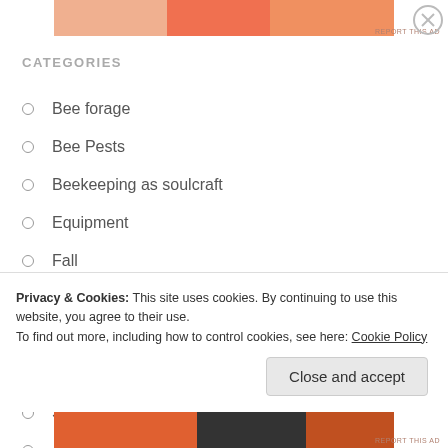[Figure (other): Advertisement banner at top with orange/salmon colored segments]
CATEGORIES
Bee forage
Bee Pests
Beekeeping as soulcraft
Equipment
Fall
Native Pollinators
Quandries
Queens
Spring
Summer
Privacy & Cookies: This site uses cookies. By continuing to use this website, you agree to their use.
To find out more, including how to control cookies, see here: Cookie Policy
Close and accept
[Figure (other): Advertisement banner at bottom with dark orange and black colored segments]